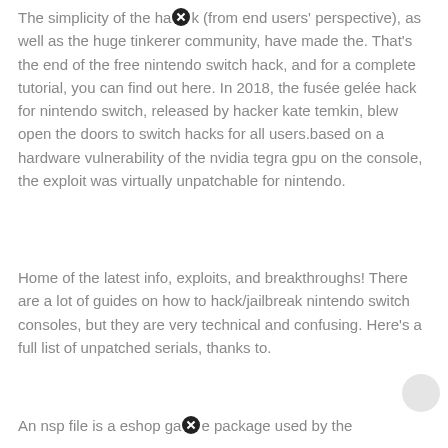The simplicity of the hack (from end users' perspective), as well as the huge tinkerer community, have made the. That's the end of the free nintendo switch hack, and for a complete tutorial, you can find out here. In 2018, the fusée gelée hack for nintendo switch, released by hacker kate temkin, blew open the doors to switch hacks for all users.based on a hardware vulnerability of the nvidia tegra gpu on the console, the exploit was virtually unpatchable for nintendo.
Home of the latest info, exploits, and breakthroughs! There are a lot of guides on how to hack/jailbreak nintendo switch consoles, but they are very technical and confusing. Here's a full list of unpatched serials, thanks to.
An nsp file is a eshop game package used by the